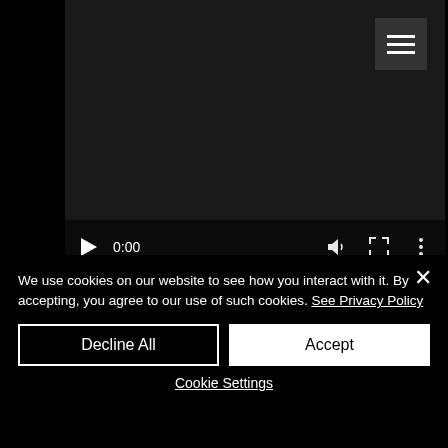[Figure (screenshot): Video player UI showing play controls, timestamp 0:00, volume icon, fullscreen icon, options icon, a progress bar, and a hamburger menu button in top right corner. Video content shows bold white text on dark background.]
Everyone has the right to dream, but sometimes there are circumstances greater than dreams. In your opinion, how can young artists find the strength to fight for their aspirations?
We use cookies on our website to see how you interact with it. By accepting, you agree to our use of such cookies. See Privacy Policy
Decline All
Accept
Cookie Settings